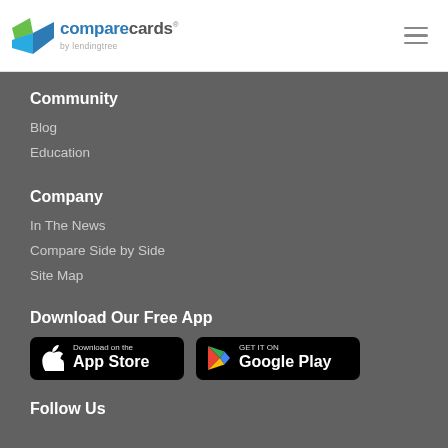comparecards by lendingtree
Community
Blog
Education
Company
In The News
Compare Side by Side
Site Map
Download Our Free App
[Figure (screenshot): App Store and Google Play download buttons]
Follow Us